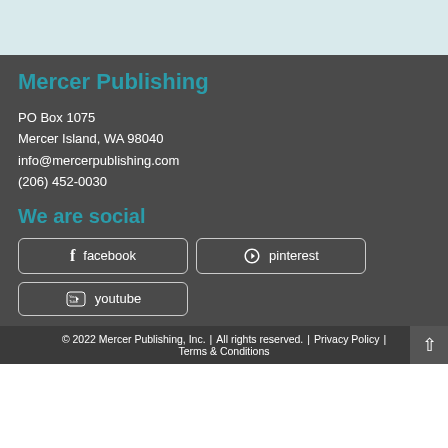Mercer Publishing
PO Box 1075
Mercer Island, WA 98040
info@mercerpublishing.com
(206) 452-0030
We are social
facebook  pinterest  youtube
© 2022 Mercer Publishing, Inc.  |  All rights reserved.  |  Privacy Policy  |  Terms & Conditions